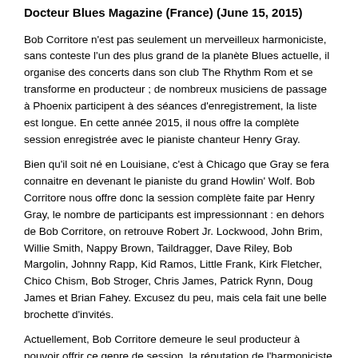Docteur Blues Magazine (France) (June 15, 2015)
Bob Corritore n'est pas seulement un merveilleux harmoniciste, sans conteste l'un des plus grand de la planète Blues actuelle, il organise des concerts dans son club The Rhythm Rom et se transforme en producteur ; de nombreux musiciens de passage à Phoenix participent à des séances d'enregistrement, la liste est longue. En cette année 2015, il nous offre la complète session enregistrée avec le pianiste chanteur Henry Gray.
Bien qu'il soit né en Louisiane, c'est à Chicago que Gray se fera connaitre en devenant le pianiste du grand Howlin' Wolf. Bob Corritore nous offre donc la session complète faite par Henry Gray, le nombre de participants est impressionnant : en dehors de Bob Corritore, on retrouve Robert Jr. Lockwood, John Brim, Willie Smith, Nappy Brown, Taildragger, Dave Riley, Bob Margolin, Johnny Rapp, Kid Ramos, Little Frank, Kirk Fletcher, Chico Chism, Bob Stroger, Chris James, Patrick Rynn, Doug James et Brian Fahey. Excusez du peu, mais cela fait une belle brochette d'invités.
Actuellement, Bob Corritore demeure le seul producteur à pouvoir offrir ce genre de session, la réputation de l'harmoniciste producteur a dépassé toutes les frontières depuis longtemps et